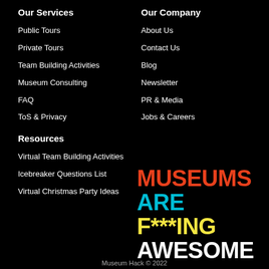Our Services
Public Tours
Private Tours
Team Building Activities
Museum Consulting
FAQ
ToS & Privacy
Resources
Virtual Team Building Activities
Icebreaker Questions List
Virtual Christmas Party Ideas
Our Company
About Us
Contact Us
Blog
Newsletter
PR & Media
Jobs & Careers
MUSEUMS ARE F***ING AWESOME
Museum Hack © 2022